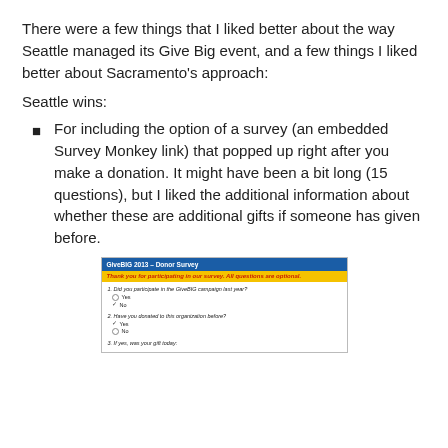There were a few things that I liked better about the way Seattle managed its Give Big event, and a few things I liked better about Sacramento's approach:
Seattle wins:
For including the option of a survey (an embedded Survey Monkey link) that popped up right after you make a donation. It might have been a bit long (15 questions), but I liked the additional information about whether these are additional gifts if someone has given before.
[Figure (screenshot): Screenshot of GiveBIG 2013 Donor Survey form with blue title bar, yellow subtitle bar reading 'Thank you for participating in our survey. All questions are optional.', and survey questions about prior GiveBIG participation and prior donations to the organization.]